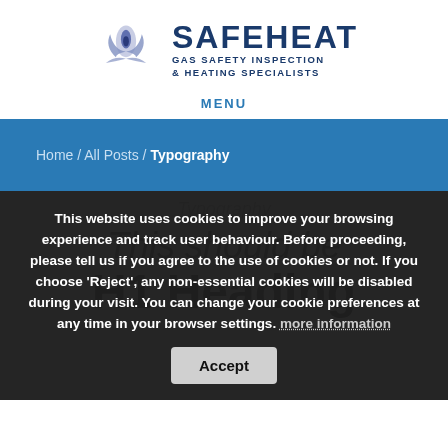[Figure (logo): Safeheat logo with flame/hands SVG icon and text SAFEHEAT GAS SAFETY INSPECTION & HEATING SPECIALISTS]
MENU
Home / All Posts / Typography
Typography
This website uses cookies to improve your browsing experience and track user behaviour. Before proceeding, please tell us if you agree to the use of cookies or not. If you choose 'Reject', any non-essential cookies will be disabled during your visit. You can change your cookie preferences at any time in your browser settings. more information  Accept
This should be
H1 Heading